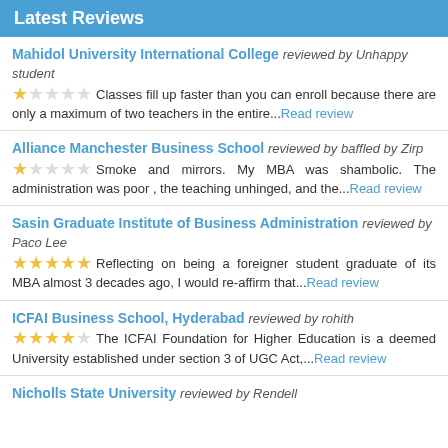Latest Reviews
Mahidol University International College reviewed by Unhappy student. 1 star. Classes fill up faster than you can enroll because there are only a maximum of two teachers in the entire...Read review
Alliance Manchester Business School reviewed by baffled by Zirp. 1 star. Smoke and mirrors. My MBA was shambolic. The administration was poor, the teaching unhinged, and the...Read review
Sasin Graduate Institute of Business Administration reviewed by Paco Lee. 5 stars. Reflecting on being a foreigner student graduate of its MBA almost 3 decades ago, I would re-affirm that...Read review
ICFAI Business School, Hyderabad reviewed by rohith. 4 stars. The ICFAI Foundation for Higher Education is a deemed University established under section 3 of UGC Act,...Read review
Nicholls State University reviewed by Rendell